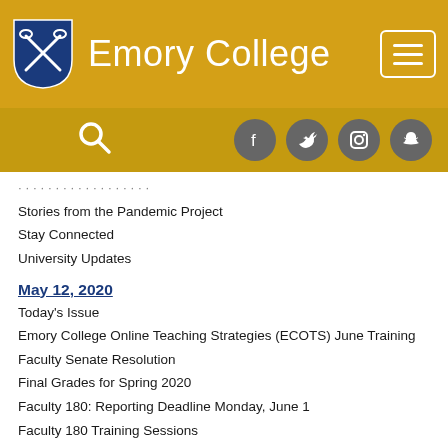Emory College
Stories from the Pandemic Project
Stay Connected
University Updates
May 12, 2020
Today's Issue
Emory College Online Teaching Strategies (ECOTS) June Training
Faculty Senate Resolution
Final Grades for Spring 2020
Faculty 180: Reporting Deadline Monday, June 1
Faculty 180 Training Sessions
Department and Program Reporting Deadline June 30
Due May 15: Final Call for Named Chair Nominations, Hightower F...
Stay Connected
Stories from the Pandemic Project
University Updates
Quick Contacts List